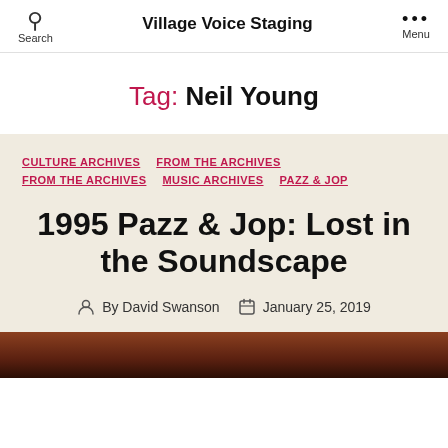Village Voice Staging
Tag: Neil Young
CULTURE ARCHIVES  FROM THE ARCHIVES  FROM THE ARCHIVES  MUSIC ARCHIVES  PAZZ & JOP
1995 Pazz & Jop: Lost in the Soundscape
By David Swanson  January 25, 2019
[Figure (photo): Bottom strip showing partial photo, dark reddish-brown tones]